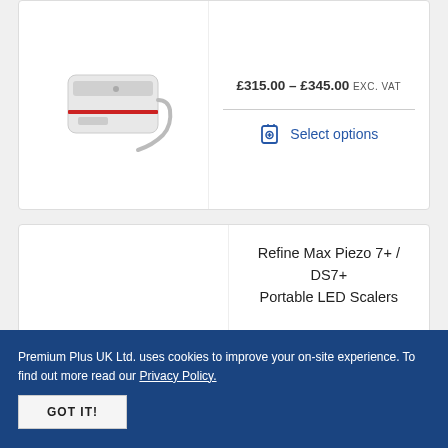£315.00 – £345.00 exc. VAT
Select options
Refine Max Piezo 7+ / DS7+ Portable LED Scalers
£365.00 – £395.00 exc. VAT
Select options
Premium Plus UK Ltd. uses cookies to improve your on-site experience. To find out more read our Privacy Policy.
GOT IT!